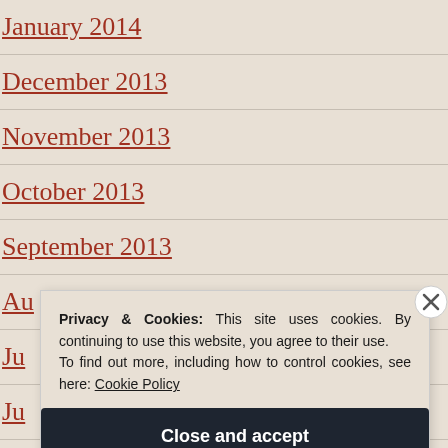January 2014
December 2013
November 2013
October 2013
September 2013
Au[gust 2013]
Ju[ly 2013]
Ju[ne 2013]
Privacy & Cookies: This site uses cookies. By continuing to use this website, you agree to their use.
To find out more, including how to control cookies, see here: Cookie Policy
Close and accept